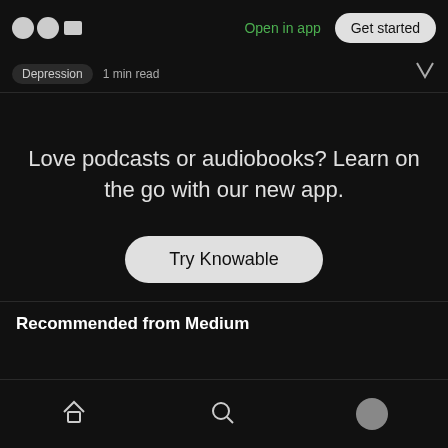Open in app  Get started
Depression  1 min read
Love podcasts or audiobooks? Learn on the go with our new app.
Try Knowable
Recommended from Medium
Home  Search  Profile